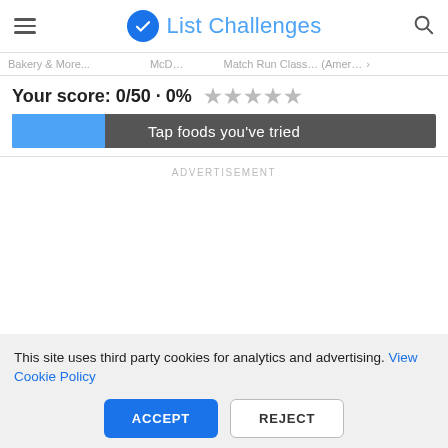List Challenges
Your score: 0/50 · 0% ★★★★★
Tap foods you've tried
ADVERTISEMENT
This site uses third party cookies for analytics and advertising. View Cookie Policy
ACCEPT
REJECT